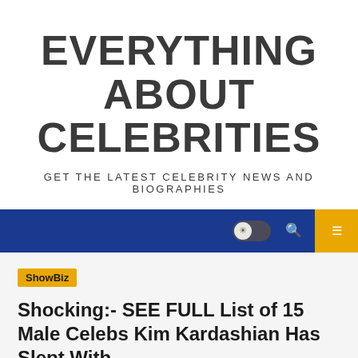EVERYTHING ABOUT CELEBRITIES
GET THE LATEST CELEBRITY NEWS AND BIOGRAPHIES
ShowBiz | EBUZZ | FEBRUARY 3, 2022 | 2 MIN READ
Shocking:- SEE FULL List of 15 Male Celebs Kim Kardashian Has Slept With
EBUZZ   FEBRUARY 3, 2022  2 MIN READ